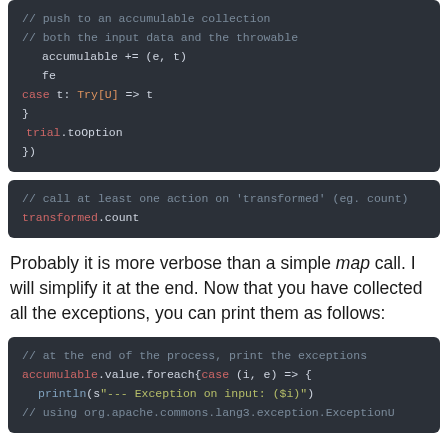[Figure (screenshot): Code block showing Scala code with accumulable, case, trial.toOption, and transformed.count]
Probably it is more verbose than a simple map call. I will simplify it at the end. Now that you have collected all the exceptions, you can print them as follows:
[Figure (screenshot): Code block showing Scala code for printing exceptions using accumulable.value.foreach and println]